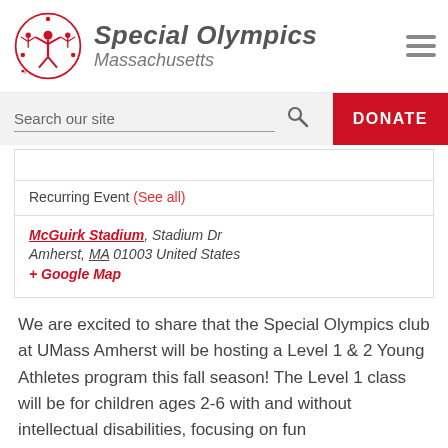[Figure (logo): Special Olympics Massachusetts logo — red figure with arms raised surrounded by a red circular wreath, with bold italic 'Special Olympics' and 'Massachusetts' text, and a hamburger menu icon on the right]
Search our site
DONATE
Recurring Event (See all)
McGuirk Stadium, Stadium Dr
Amherst, MA 01003 United States
+ Google Map
We are excited to share that the Special Olympics club at UMass Amherst will be hosting a Level 1 & 2 Young Athletes program this fall season! The Level 1 class will be for children ages 2-6 with and without intellectual disabilities, focusing on fun